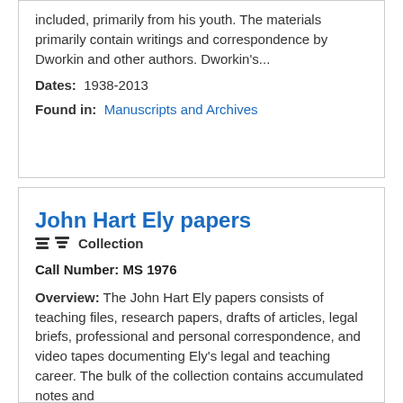included, primarily from his youth. The materials primarily contain writings and correspondence by Dworkin and other authors. Dworkin's...
Dates: 1938-2013
Found in: Manuscripts and Archives
John Hart Ely papers
Collection
Call Number: MS 1976
Overview: The John Hart Ely papers consists of teaching files, research papers, drafts of articles, legal briefs, professional and personal correspondence, and video tapes documenting Ely's legal and teaching career. The bulk of the collection contains accumulated notes and